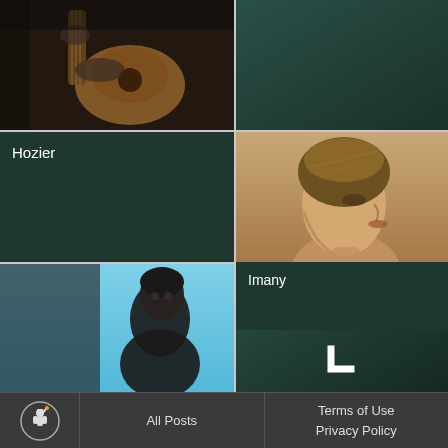[Figure (photo): Person playing acoustic guitar, dark moody background]
[Figure (photo): Dark teal/green solid color block]
Hozier
[Figure (photo): Side profile of a woman wearing a decorative headwrap, sepia-toned]
Imany
[Figure (photo): Dark green solid color block]
[Figure (photo): Person with short dark hair against light blue background]
[Figure (photo): Dark green block with a small white bracket/icon symbol]
All Posts   Terms of Use   Privacy Policy